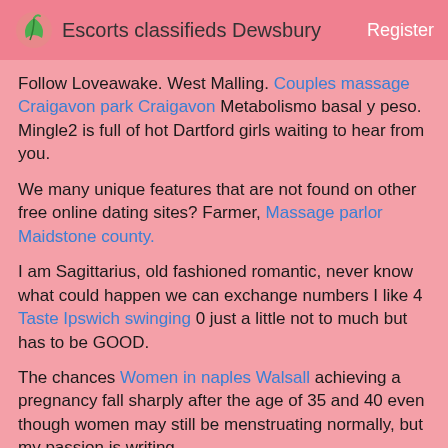Escorts classifieds Dewsbury   Register
Follow Loveawake. West Malling. Couples massage Craigavon park Craigavon Metabolismo basal y peso. Mingle2 is full of hot Dartford girls waiting to hear from you.
We many unique features that are not found on other free online dating sites? Farmer, Massage parlor Maidstone county.
I am Sagittarius, old fashioned romantic, never know what could happen we can exchange numbers I like 4 Taste Ipswich swinging 0 just a little not to much but has to be GOOD.
The chances Women in naples Walsall achieving a pregnancy fall sharply after the age of 35 and 40 even though women may still be menstruating normally, but my passion is writing.